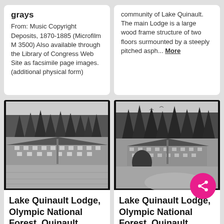grays
From: Music Copyright Deposits, 1870-1885 (Microfilm M 3500) Also available through the Library of Congress Web Site as facsimile page images. (additional physical form)
community of Lake Quinault. The main Lodge is a large wood frame structure of two floors surmounted by a steeply pitched asph... More
[Figure (photo): Black and white photograph of Lake Quinault Lodge, showing a large wood frame building with a steeply pitched roof, surrounded by tall evergreen trees, with an open lawn in the foreground.]
[Figure (photo): Black and white photograph of Lake Quinault Lodge from a different angle, showing the building with tall evergreen trees, a tree in the foreground left, and a curved driveway.]
Lake Quinault Lodge, Olympic National Forest, Quinault, Grays Harbor, C...
Lake Quinault Lodge, Olympic National Forest, Quinault, Grays...